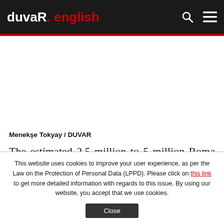duvaR. english
Menekşe Tokyay / DUVAR
The estimated 2.5 million to 5 million Roma people living in Turkey suffer from extreme
This website uses cookies to improve your user experience, as per the Law on the Protection of Personal Data (LPPD). Please click on this link to get more detailed information with regards to this issue. By using our website, you accept that we use cookies.
Close